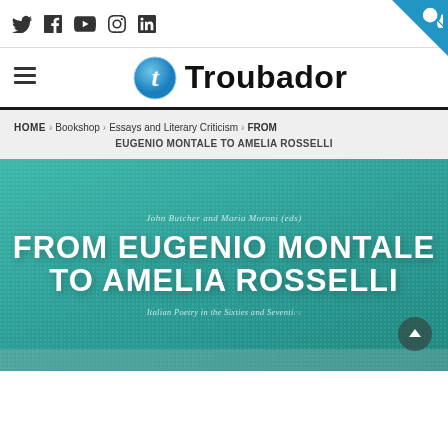Social icons: Twitter, Facebook, YouTube, Instagram, LinkedIn | Search
[Figure (logo): Troubador publishing logo — circular blue italic 't' icon next to bold 'Troubador' wordmark, with hamburger menu icon on left]
HOME › Bookshop › Essays and Literary Criticism › FROM EUGENIO MONTALE TO AMELIA ROSSELLI
[Figure (photo): Book cover for 'From Eugenio Montale to Amelia Rosselli' — teal/green background with large white bold uppercase title text; smaller italic subtitle text above and below. Editors: John Butcher and Maria Moroni. Subtitle: Italian Poetry in the Sixties and Seventies. Scroll-up button in bottom right corner.]